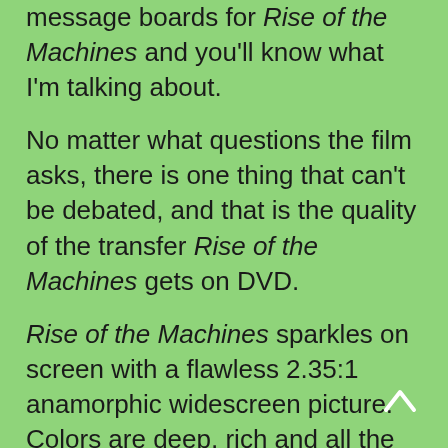message boards for Rise of the Machines and you'll know what I'm talking about.
No matter what questions the film asks, there is one thing that can't be debated, and that is the quality of the transfer Rise of the Machines gets on DVD.
Rise of the Machines sparkles on screen with a flawless 2.35:1 anamorphic widescreen picture. Colors are deep, rich and all the action is captured beautifully by Mostow's camera. Being a double disc edition — with the